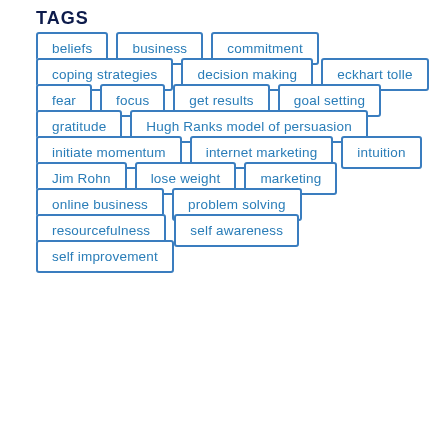TAGS
beliefs
business
commitment
coping strategies
decision making
eckhart tolle
fear
focus
get results
goal setting
gratitude
Hugh Ranks model of persuasion
initiate momentum
internet marketing
intuition
Jim Rohn
lose weight
marketing
online business
problem solving
resourcefulness
self awareness
self improvement